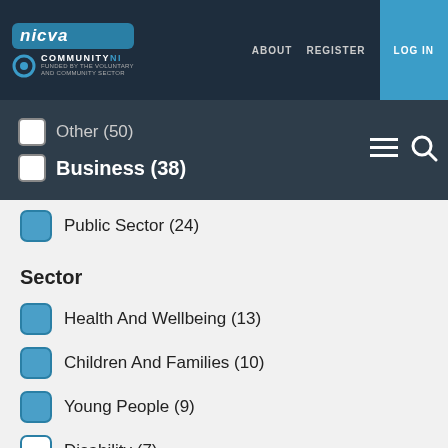NICVA | ABOUT REGISTER LOG IN
Other (50)
Business (38)
Public Sector (24)
Sector
Health And Wellbeing (13)
Children And Families (10)
Young People (9)
Disability (7)
Community Relations (6)
Older People (5)
Lobbying/Policy (3)